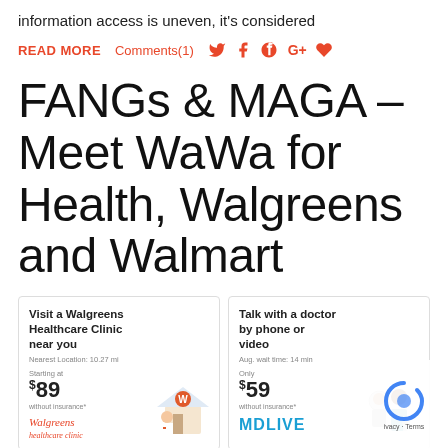information access is uneven, it's considered
READ MORE   Comments(1)
FANGs & MAGA – Meet WaWa for Health, Walgreens and Walmart
[Figure (infographic): Two healthcare service cards side by side. Left card: Visit a Walgreens Healthcare Clinic near you. Nearest Location: 10.27 mi. Starting at $89 without insurance*. Walgreens healthcare clinic logo. Illustration of pharmacy building with nurse. Right card: Talk with a doctor by phone or video. Aug. wait time: 14 min. Only $59 without insurance*. MDLIVE logo. Illustration of two doctors.]
[Figure (infographic): Two healthcare service cards side by side (partial). Left card: Get dermatology care online. Avg. wait time: 24 hours. Right card: Talk to a therapist online. With partial illustration of a person.]